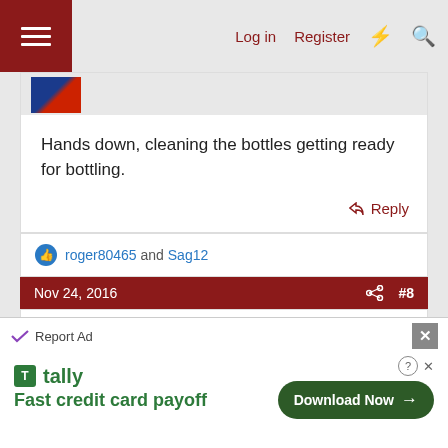Log in  Register
[Figure (screenshot): Partial avatar image of previous post user]
Hands down, cleaning the bottles getting ready for bottling.
Reply
roger80465 and Sag12
Nov 24, 2016  #8
[Figure (illustration): User avatar letter B, pink background]
biscmc
Junior
Rinse, clean, rinse, sanitize. Repeat.
Report Ad  Fast credit card payoff  Download Now →